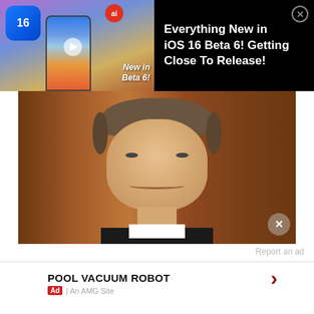[Figure (screenshot): iOS 16 Beta 6 advertisement banner with phone mockup, iOS 16 logo, and AI badge on black background]
Everything New in iOS 16 Beta 6! Getting Close To Release!
[Figure (photo): Close-up portrait photo of a middle-aged man in formal attire smiling, with a wood-paneled background]
Report an ad
POOL VACUUM ROBOT
Ad | An AMG Site